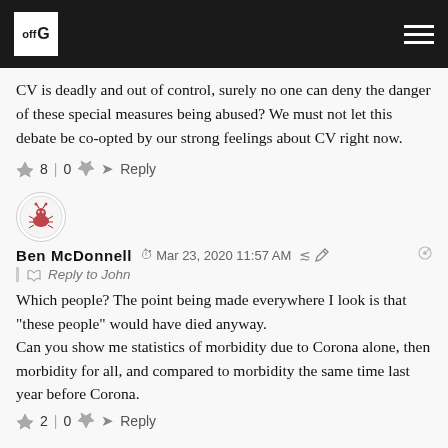OffG logo and hamburger menu
CV is deadly and out of control, surely no one can deny the danger of these special measures being abused? We must not let this debate be co-opted by our strong feelings about CV right now.
👍 8 | 0 👎 ➤ Reply
[Figure (illustration): Round avatar with cartoon bug/creature illustration]
Ben McDonnell  🕐 Mar 23, 2020 11:57 AM  🔗
| 💬 Reply to John
Which people? The point being made everywhere I look is that "these people" would have died anyway.
Can you show me statistics of morbidity due to Corona alone, then morbidity for all, and compared to morbidity the same time last year before Corona.
👍 2 | 0 👎 ➤ Reply